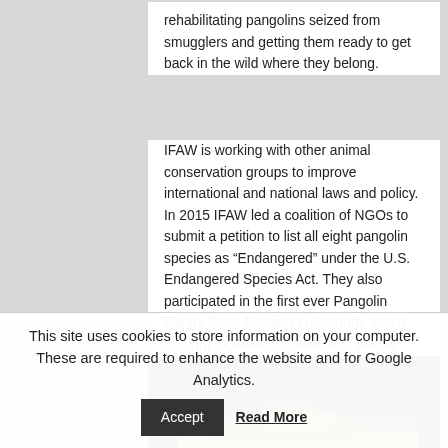rehabilitating pangolins seized from smugglers and getting them ready to get back in the wild where they belong.
IFAW is working with other animal conservation groups to improve international and national laws and policy. In 2015 IFAW led a coalition of NGOs to submit a petition to list all eight pangolin species as “Endangered” under the U.S. Endangered Species Act. They also participated in the first ever Pangolin Range State Meeting in Vietnam, which brought together countries and animal conservation groups dedicated to finding solutions for the pangolin.
[Figure (photo): A close-up photograph of a pangolin showing its distinctive scales, set against a black background.]
This site uses cookies to store information on your computer. These are required to enhance the website and for Google Analytics.